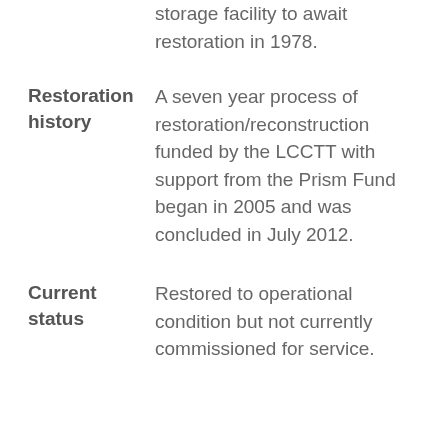storage facility to await restoration in 1978.
Restoration history	A seven year process of restoration/reconstruction funded by the LCCTT with support from the Prism Fund began in 2005 and was concluded in July 2012.
Current status	Restored to operational condition but not currently commissioned for service.